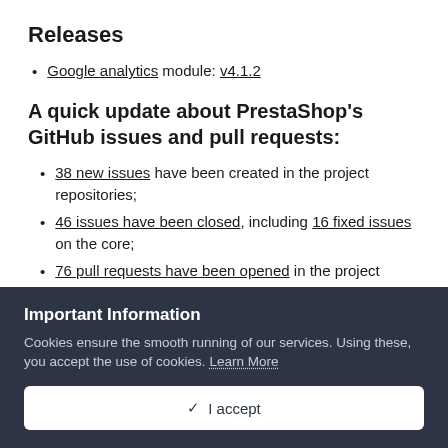Releases
Google analytics module: v4.1.2
A quick update about PrestaShop's GitHub issues and pull requests:
38 new issues have been created in the project repositories;
46 issues have been closed, including 16 fixed issues on the core;
76 pull requests have been opened in the project repositories;
74 pull requests have been closed, including 64 merged pull
Important Information
Cookies ensure the smooth running of our services. Using these, you accept the use of cookies. Learn More
✓ I accept